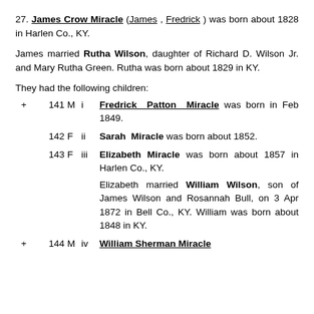27. James Crow Miracle (James, Fredrick) was born about 1828 in Harlen Co., KY.
James married Rutha Wilson, daughter of Richard D. Wilson Jr. and Mary Rutha Green. Rutha was born about 1829 in KY.
They had the following children:
+ 141 M i Fredrick Patton Miracle was born in Feb 1849.
142 F ii Sarah Miracle was born about 1852.
143 F iii Elizabeth Miracle was born about 1857 in Harlen Co., KY. Elizabeth married William Wilson, son of James Wilson and Rosannah Bull, on 3 Apr 1872 in Bell Co., KY. William was born about 1848 in KY.
+ 144 M iv William Sherman Miracle